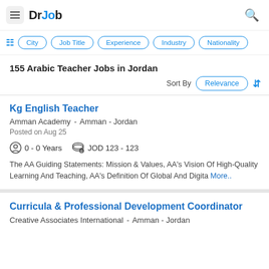DrJob
City | Job Title | Experience | Industry | Nationality
155 Arabic Teacher Jobs in Jordan
Sort By Relevance
Kg English Teacher
Amman Academy - Amman - Jordan
Posted on Aug 25
0 - 0 Years   JOD 123 - 123
The AA Guiding Statements: Mission & Values, AA's Vision Of High-Quality Learning And Teaching, AA's Definition Of Global And Digita More..
Curricula & Professional Development Coordinator
Creative Associates International - Amman - Jordan